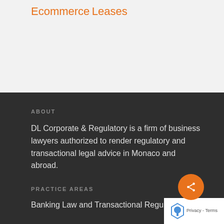Ecommerce
Leases
ABOUT
DL Corporate & Regulatory is a firm of business lawyers authorized to render regulatory and transactional legal advice in Monaco and abroad.
PRACTICE AREAS
Banking Law and Transactional Regulatory